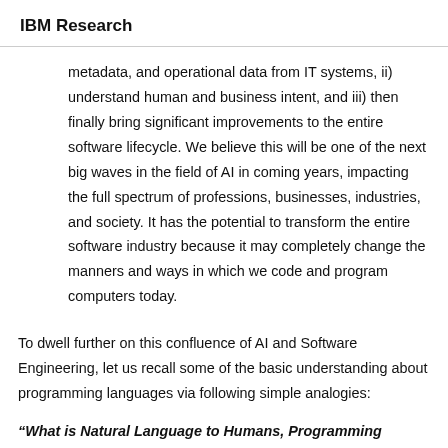IBM Research
metadata, and operational data from IT systems, ii) understand human and business intent, and iii) then finally bring significant improvements to the entire software lifecycle. We believe this will be one of the next big waves in the field of AI in coming years, impacting the full spectrum of professions, businesses, industries, and society. It has the potential to transform the entire software industry because it may completely change the manners and ways in which we code and program computers today.
To dwell further on this confluence of AI and Software Engineering, let us recall some of the basic understanding about programming languages via following simple analogies:
“What is Natural Language to Humans, Programming Language is to Computers”.